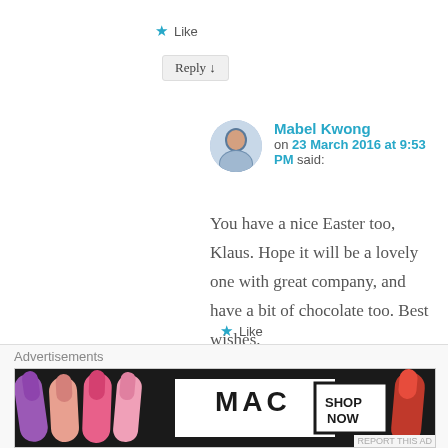★ Like
Reply ↓
Mabel Kwong
on 23 March 2016 at 9:53 PM said:
You have a nice Easter too, Klaus. Hope it will be a lovely one with great company, and have a bit of chocolate too. Best wishes.
★ Like
Reply ↓
Advertisements
[Figure (photo): MAC Cosmetics advertisement banner showing lipsticks in purple, pink and red colors with MAC logo and SHOP NOW button]